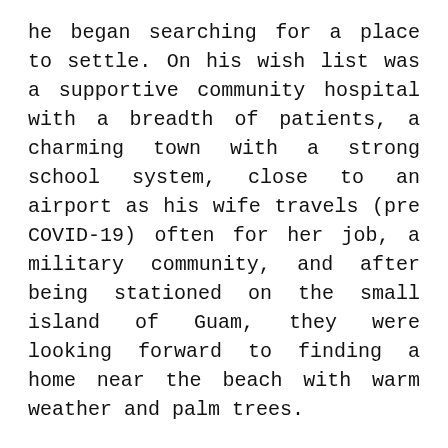he began searching for a place to settle. On his wish list was a supportive community hospital with a breadth of patients, a charming town with a strong school system, close to an airport as his wife travels (pre COVID-19) often for her job, a military community, and after being stationed on the small island of Guam, they were looking forward to finding a home near the beach with warm weather and palm trees.
“I’d say St. Marys is literally the perfect fit,” says Bograd. “We found exactly what we were looking for in the Health System and the community, and we are so happy to be here.”
When Bograd isn’t practicing medicine, he enjoys spending time with his wife, two children, and their dog. Unsurprisingly, Bograd’s enthusiasm for health and wellness is personal as well as professional. “My wife has been a patient in